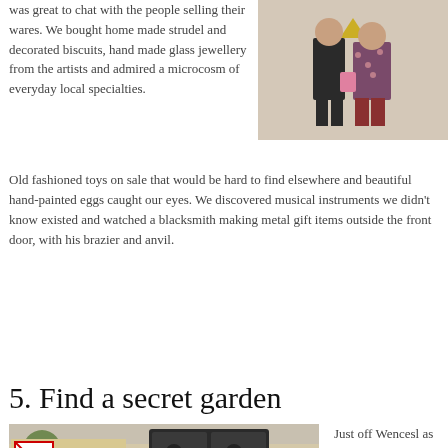was great to chat with the people selling their wares. We bought home made strudel and decorated biscuits, hand made glass jewellery from the artists and admired a microcosm of everyday local specialties.
[Figure (photo): Photo of two people standing in front of a wall with a decorative motif, one wearing dark pants and a floral dress.]
Old fashioned toys on sale that would be hard to find elsewhere and beautiful hand-painted eggs caught our eyes. We discovered musical instruments we didn't know existed and watched a blacksmith making metal gift items outside the front door, with his brazier and anvil.
5. Find a secret garden
[Figure (photo): Photo of an ornate metal gate door with relief carvings, and a sign reading 'PROVOZNI A NAVSTEVNI RAD FRANTISKANSKE ZAHRADY', with a no-dogs sign. Trees visible in background.]
Just off Wenceslas Square, through a small